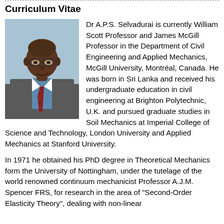Curriculum Vitae
[Figure (photo): Portrait photo of Dr A.P.S. Selvadurai, a man wearing glasses, a blue shirt and dark jacket with red patterned tie]
Dr A.P.S. Selvadurai is currently William Scott Professor and James McGill Professor in the Department of Civil Engineering and Applied Mechanics, McGill University, Montréal, Canada. He was born in Sri Lanka and received his undergraduate education in civil engineering at Brighton Polytechnic, U.K. and pursued graduate studies in Soil Mechanics at Imperial College of Science and Technology, London University and Applied Mechanics at Stanford University.
In 1971 he obtained his PhD degree in Theoretical Mechanics form the University of Nottingham, under the tutelage of the world renowned continuum mechanicist Professor A.J.M. Spencer FRS, for research in the area of "Second-Order Elasticity Theory", dealing with non-linear